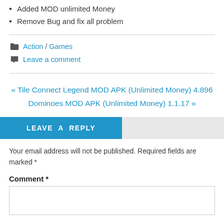Added MOD unlimited Money
Remove Bug and fix all problem
Action / Games
Leave a comment
« Tile Connect Legend MOD APK (Unlimited Money) 4.896
Dominoes MOD APK (Unlimited Money) 1.1.17 »
LEAVE A REPLY
Your email address will not be published. Required fields are marked *
Comment *